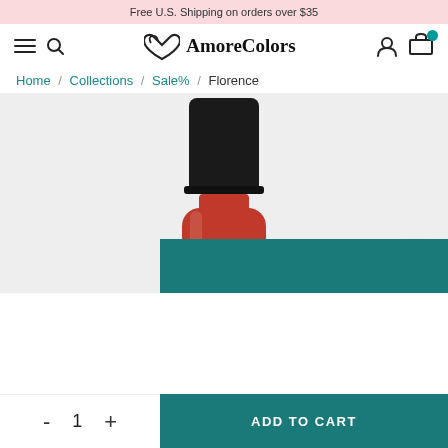Free U.S. Shipping on orders over $35
AmoreColors
Home / Collections / Sale% / Florence
[Figure (photo): A red nail polish bottle with a black cap, displayed on a light gray background. The bottle shows partial text 'ie' on the label.]
- 1 + ADD TO CART